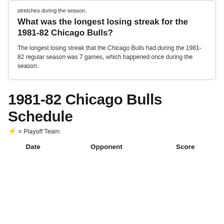stretches during the season.
What was the longest losing streak for the 1981-82 Chicago Bulls?
The longest losing streak that the Chicago Bulls had during the 1981-82 regular season was 7 games, which happened once during the season.
1981-82 Chicago Bulls Schedule
⚡ = Playoff Team
| Date | Opponent | Score |
| --- | --- | --- |